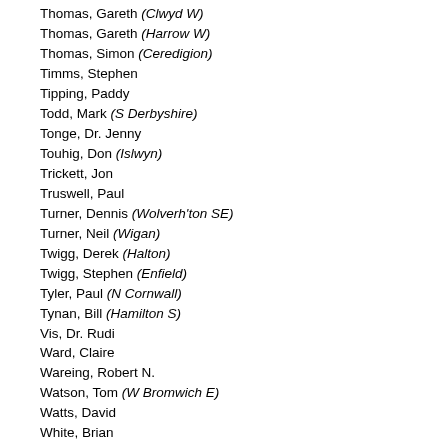Thomas, Gareth (Clwyd W)
Thomas, Gareth (Harrow W)
Thomas, Simon (Ceredigion)
Timms, Stephen
Tipping, Paddy
Todd, Mark (S Derbyshire)
Tonge, Dr. Jenny
Touhig, Don (Islwyn)
Trickett, Jon
Truswell, Paul
Turner, Dennis (Wolverh'ton SE)
Turner, Neil (Wigan)
Twigg, Derek (Halton)
Twigg, Stephen (Enfield)
Tyler, Paul (N Cornwall)
Tynan, Bill (Hamilton S)
Vis, Dr. Rudi
Ward, Claire
Wareing, Robert N.
Watson, Tom (W Bromwich E)
Watts, David
White, Brian
Whitehead, Dr. Alan
Wicks, Malcolm
Williams, Mrs Betty (Conwy)
Williams, Roger (Brecon)
Willis, Phil
Winnick, David
Winterton, Ms Rosie (Doncaster C)
Woolas, Phil
Worthington, Tony
Wray, James (Glasgow Baillieston)
Wright, Anthony D. (Gt Yarmouth)
Wright, David (Telford)
Wright, Tony (Cannock)
Younger-Ross, Richard
Tellers for the Ayes:
Mr. Nick Ainger and